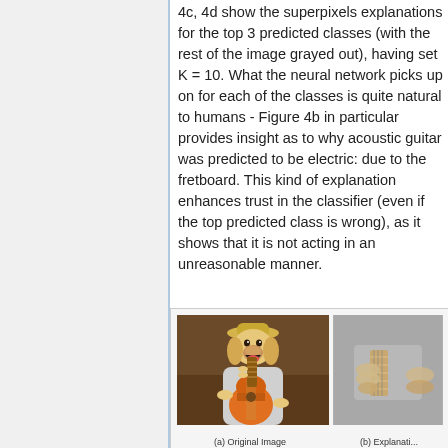4c, 4d show the superpixels explanations for the top 3 predicted classes (with the rest of the image grayed out), having set K = 10. What the neural network picks up on for each of the classes is quite natural to humans - Figure 4b in particular provides insight as to why acoustic guitar was predicted to be electric: due to the fretboard. This kind of explanation enhances trust in the classifier (even if the top predicted class is wrong), as it shows that it is not acting in an unreasonable manner.
[Figure (photo): Two side-by-side images: (a) Original Image showing a dog wearing a hat and playing an acoustic guitar, (b) Explanation Figure showing a partial grayed-out image highlighting the fretboard area of the guitar on a gray background.]
(a) Original Image   (b) Explanation Figure